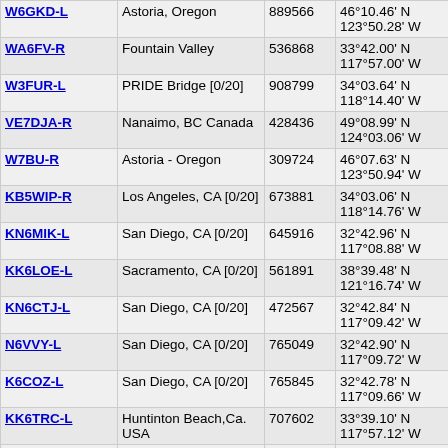| Callsign | Location | Node | Coordinates | Grid | Freq |
| --- | --- | --- | --- | --- | --- |
| W6GKD-L | Astoria, Oregon | 889566 | 46°10.46' N 123°50.28' W | CN86be | 1593. |
| WA6FV-R | Fountain Valley | 536868 | 33°42.00' N 117°57.00' W | DM13aq | 1593.4 |
| W3FUR-L | PRIDE Bridge [0/20] | 908799 | 34°03.64' N 118°14.40' W | DM04vb | 1593.5 |
| VE7DJA-R | Nanaimo, BC Canada | 428436 | 49°08.99' N 124°03.06' W | CN79xd | 1593.8 |
| W7BU-R | Astoria - Oregon | 309724 | 46°07.63' N 123°50.94' W | CN86bd | 1594.0 |
| KB5WIP-R | Los Angeles, CA [0/20] | 673881 | 34°03.06' N 118°14.76' W | DM04vb | 1594.2 |
| KN6MIK-L | San Diego, CA [0/20] | 645916 | 32°42.96' N 117°08.88' W | DM12kr | 1594.6 |
| KK6LOE-L | Sacramento, CA [0/20] | 561891 | 38°39.48' N 121°16.74' W | CM98ip | 1594.9 |
| KN6CTJ-L | San Diego, CA [0/20] | 472567 | 32°42.84' N 117°09.42' W | DM12kr | 1595.1 |
| N6VVY-L | San Diego, CA [0/20] | 765049 | 32°42.90' N 117°09.72' W | DM12kr | 1595.3 |
| K6COZ-L | San Diego, CA [0/20] | 765845 | 32°42.78' N 117°09.66' W | DM12kr | 1595.3 |
| KK6TRC-L | Huntinton Beach,Ca. USA | 707602 | 33°39.10' N 117°57.12' W | DM13ap | 1595.4 |
| K1BLU-R | Lakewood, CA [0/20] | 242618 | 33°50.98' N 118°07.56' W | DM03wu | 1596.1 |
| KN6OTX-L | Lakewood, CA [0/20] | 721962 | 33°51.22' N | DM03wu | 1596.3 |